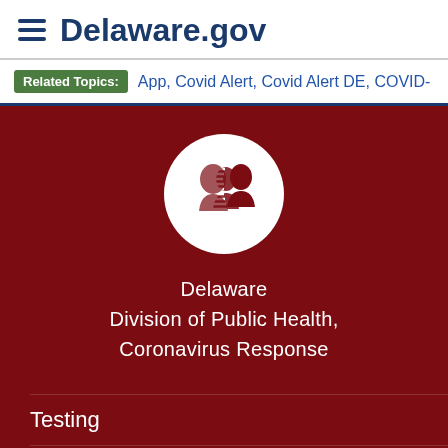Delaware.gov
Related Topics: App, Covid Alert, Covid Alert DE, COVID-
[Figure (logo): Delaware Division of Public Health circular logo showing stylized profile faces in dark red on white background]
Delaware Division of Public Health, Coronavirus Response
Testing
Vaccine
Data